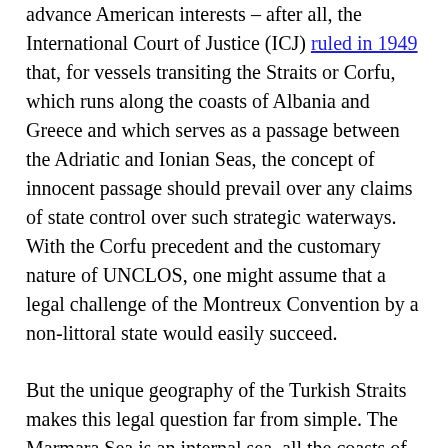advance American interests – after all, the International Court of Justice (ICJ) ruled in 1949 that, for vessels transiting the Straits or Corfu, which runs along the coasts of Albania and Greece and which serves as a passage between the Adriatic and Ionian Seas, the concept of innocent passage should prevail over any claims of state control over such strategic waterways. With the Corfu precedent and the customary nature of UNCLOS, one might assume that a legal challenge of the Montreux Convention by a non-littoral state would easily succeed.
But the unique geography of the Turkish Straits makes this legal question far from simple. The Marmara Sea is an internal sea, all the coasts of which belong to Turkey. In the event of a dissolution of the Convention, the ICJ would need to consider whether the Turkish Straits...